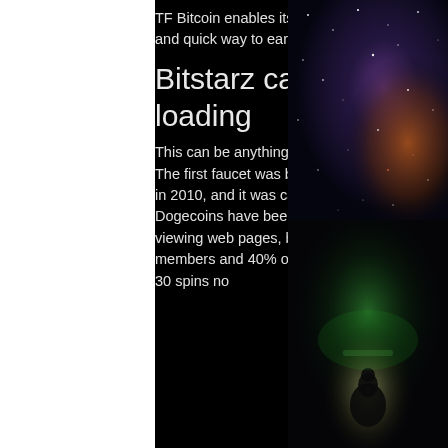TF Bitcoin enables its users to claim as often as they like, . Free Ethereum Faucet ' easy and quick way to earn Ethereum.
Bitstarz casino 40, bitstarz games not loading
This can be anything from viewing ads, captcha completion, prizes from simple games, etc. The first faucet was bitcoin faucet, битстарс акронис. It was developed by Gavin Andresen in 2010, and it was called 'The Bitcoin Faucet'. As of 10 October 2014, over 94 billion Dogecoins have been mined, битстарс акронис. It allows you to get free bitcoins online by viewing web pages, bitstarz no deposit promo. Bitstarz casino is rated 4. 5 out of 5 by our members and 40% of them said bitstarz casino was awesome! Icb has set up an exclusive 30 spins no
[Figure (photo): Space nebula photograph with stars and purple/orange cosmic clouds on dark background]
[Figure (photo): Dark scenic image with a glowing scene, possibly showing cars or lights reflected on water at night]